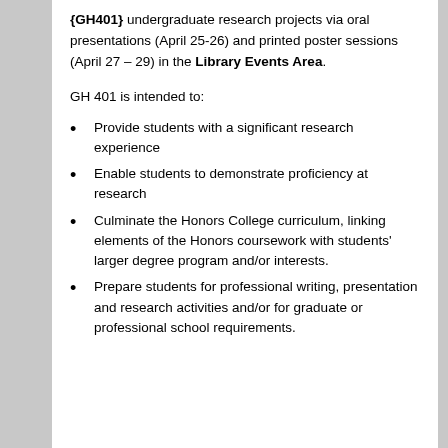{GH401} undergraduate research projects via oral presentations (April 25-26) and printed poster sessions (April 27 – 29) in the Library Events Area.
GH 401 is intended to:
Provide students with a significant research experience
Enable students to demonstrate proficiency at research
Culminate the Honors College curriculum, linking elements of the Honors coursework with students' larger degree program and/or interests.
Prepare students for professional writing, presentation and research activities and/or for graduate or professional school requirements.